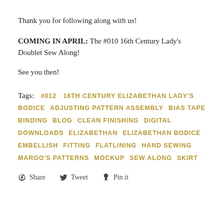Thank you for following along with us!
COMING IN APRIL:  The #010 16th Century Lady's Doublet Sew Along!
See you then!
Tags:   #012   16TH CENTURY ELIZABETHAN LADY'S BODICE   ADJUSTING PATTERN ASSEMBLY   BIAS TAPE BINDING   BLOG   CLEAN FINISHING   DIGITAL DOWNLOADS   ELIZABETHAN   ELIZABETHAN BODICE   EMBELLISH   FITTING   FLATLINING   HAND SEWING   MARGO'S PATTERNS   MOCKUP   SEW ALONG   SKIRT
Share   Tweet   Pin it